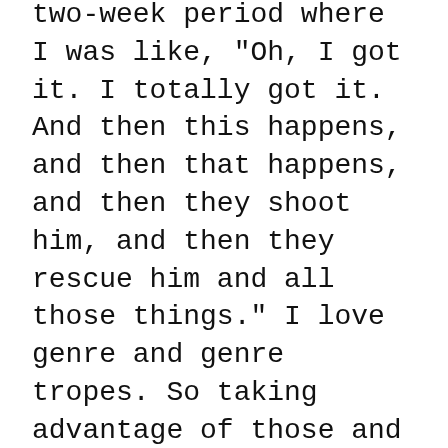two-week period where I was like, "Oh, I got it. I totally got it. And then this happens, and then that happens, and then they shoot him, and then they rescue him and all those things." I love genre and genre tropes. So taking advantage of those and applying them to this kind of narrative came naturally.
DANIELS: Times have changed. How have you and your work changed?
WINTER: I feel like I'm both angrier and more optimistic all at the same work, I see an optimistic, angry person. And when I've looked in the